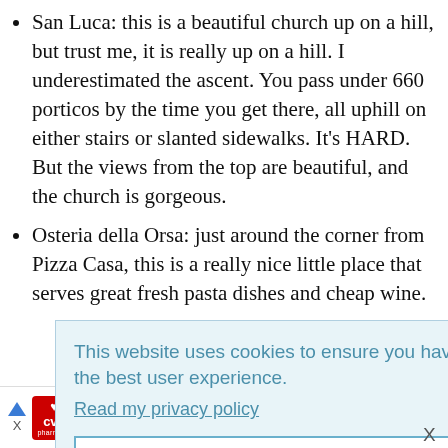San Luca: this is a beautiful church up on a hill, but trust me, it is really up on a hill. I underestimated the ascent. You pass under 660 porticos by the time you get there, all uphill on either stairs or slanted sidewalks. It's HARD. But the views from the top are beautiful, and the church is gorgeous.
Osteria della Orsa: just around the corner from Pizza Casa, this is a really nice little place that serves great fresh pasta dishes and cheap wine.
This website uses cookies to ensure you have the best user experience. Read my privacy policy
Okay, I understand!
[Figure (other): CVS Photo advertisement bar with CVS pharmacy logo, 'Photo Deals At CVS®' text, 'CVS Photo' subtitle, navigation arrows, and a blue diamond direction icon.]